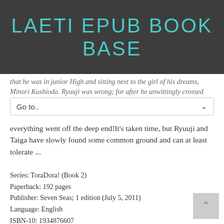LAETI EPUB BOOK BASE
that he was in junior High and sitting next to the girl of his dreams, Minori Kushioda. Ryuuji was wrong; for after he unwittingly crossed
Go to..
everything went off the deep end!It's taken time, but Ryuuji and Taiga have slowly found some common ground and can at least tolerate ...
Series: ToraDora! (Book 2)
Paperback: 192 pages
Publisher: Seven Seas; 1 edition (July 5, 2011)
Language: English
ISBN-10: 1934876607
ISBN-13: 978-1934876602
Product Dimensions: 5 x 0.7 x 7.2 inches
Amazon Rank: 258761
Format: PDF Text TXT ebook